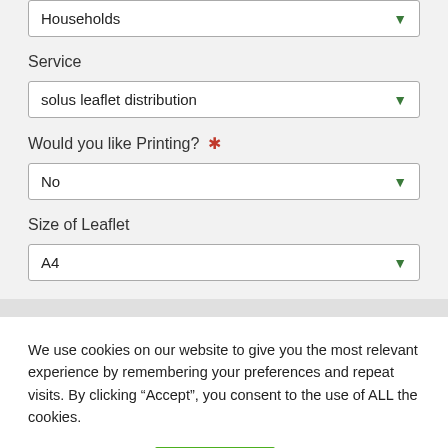Households
Service
solus leaflet distribution
Would you like Printing? *
No
Size of Leaflet
A4
We use cookies on our website to give you the most relevant experience by remembering your preferences and repeat visits. By clicking “Accept”, you consent to the use of ALL the cookies.
Cookie settings
ACCEPT